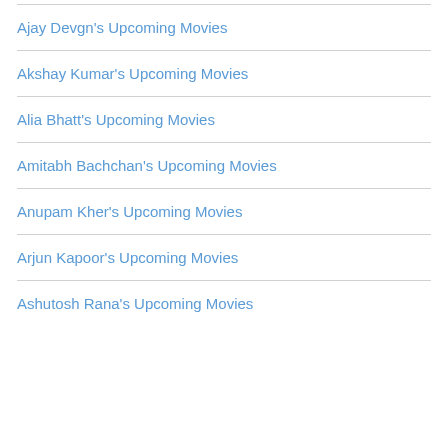Ajay Devgn's Upcoming Movies
Akshay Kumar's Upcoming Movies
Alia Bhatt's Upcoming Movies
Amitabh Bachchan's Upcoming Movies
Anupam Kher's Upcoming Movies
Arjun Kapoor's Upcoming Movies
Ashutosh Rana's Upcoming Movies